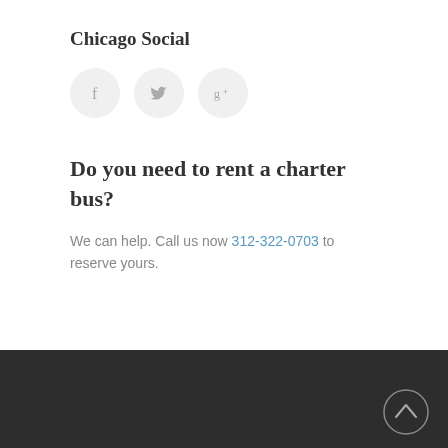Chicago Social
[Figure (illustration): Three circular social media icons: Facebook (f), Twitter (bird), Google+ (g+) on light grey circle backgrounds]
Do you need to rent a charter bus?
We can help. Call us now 312-322-0703 to reserve yours.
Dark footer bar with scroll-to-top chevron button